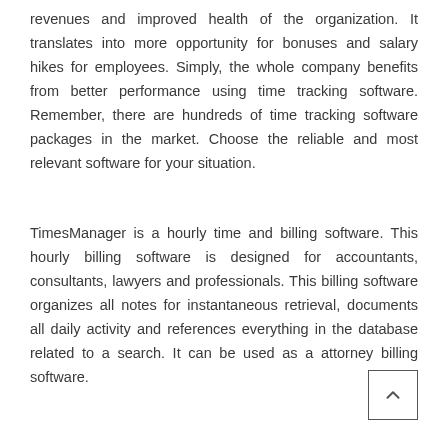revenues and improved health of the organization. It translates into more opportunity for bonuses and salary hikes for employees. Simply, the whole company benefits from better performance using time tracking software. Remember, there are hundreds of time tracking software packages in the market. Choose the reliable and most relevant software for your situation.
TimesManager is a hourly time and billing software. This hourly billing software is designed for accountants, consultants, lawyers and professionals. This billing software organizes all notes for instantaneous retrieval, documents all daily activity and references everything in the database related to a search. It can be used as a attorney billing software.